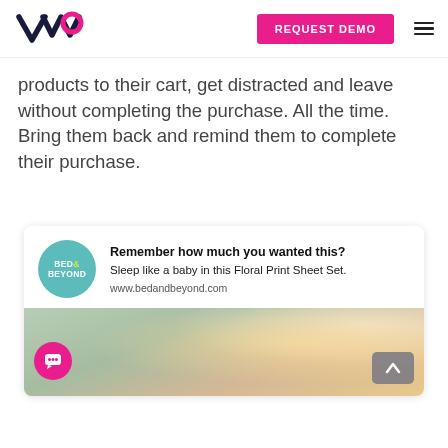VWO | REQUEST DEMO
products to their cart, get distracted and leave without completing the purchase. All the time. Bring them back and remind them to complete their purchase.
[Figure (screenshot): Advertisement card for Bed & Beyond showing a circular teal logo, bold headline 'Remember how much you wanted this?', body text 'Sleep like a baby in this Floral Print Sheet Set.', URL 'www.bedandbeyond.com', and a photo of a bed with floral print pillows and a lamp in the background. A pink chat widget and a grey scroll-to-top button are overlaid at the bottom.]